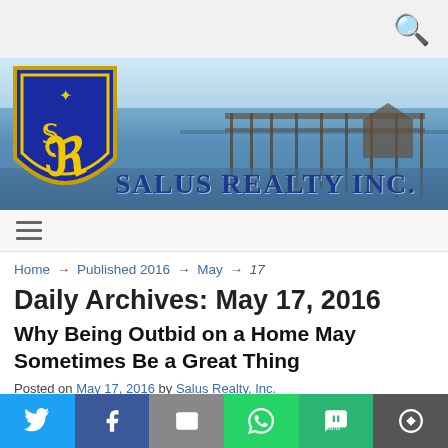[Figure (illustration): Salus Realty Inc. website header banner showing a waterfront/dock scene with the company shield logo on the left and company name 'SALUS REALTY INC.' in blue serif text]
Home → Published 2016 → May → 17
Daily Archives: May 17, 2016
Why Being Outbid on a Home May Sometimes Be a Great Thing
Posted on May 17, 2016 by Salus Realty, Inc.